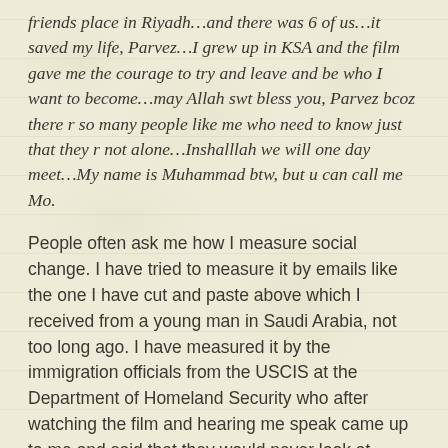friends place in Riyadh…and there was 6 of us…it saved my life, Parvez…I grew up in KSA and the film gave me the courage to try and leave and be who I want to become…may Allah swt bless you, Parvez bcoz there r so many people like me who need to know just that they r not alone…Inshalllah we will one day meet…My name is Muhammad btw, but u can call me Mo.
People often ask me how I measure social change. I have tried to measure it by emails like the one I have cut and paste above which I received from a young man in Saudi Arabia, not too long ago. I have measured it by the immigration officials from the USCIS at the Department of Homeland Security who after watching the film and hearing me speak came up to me and said that they would never look at